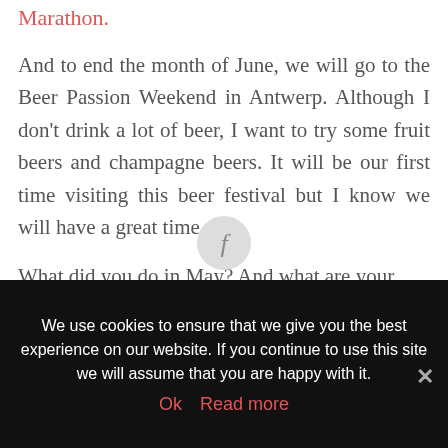Marathon.
And to end the month of June, we will go to the Beer Passion Weekend in Antwerp. Although I don't drink a lot of beer, I want to try some fruit beers and champagne beers. It will be our first time visiting this beer festival but I know we will have a great time.
What did you do in May? And what are your plans in June?
[Figure (other): Facebook share button circle icon]
We use cookies to ensure that we give you the best experience on our website. If you continue to use this site we will assume that you are happy with it.
Ok  Read more